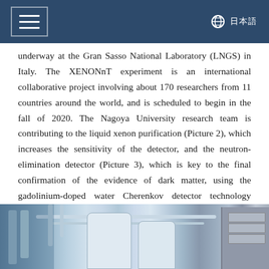Navigation header with hamburger menu and globe/language icon
underway at the Gran Sasso National Laboratory (LNGS) in Italy. The XENONnT experiment is an international collaborative project involving about 170 researchers from 11 countries around the world, and is scheduled to begin in the fall of 2020. The Nagoya University research team is contributing to the liquid xenon purification (Picture 2), which increases the sensitivity of the detector, and the neutron-elimination detector (Picture 3), which is key to the final confirmation of the evidence of dark matter, using the gadolinium-doped water Cherenkov detector technology developed in the Super-Kamiokande.
[Figure (photo): Photograph of laboratory equipment including cylindrical tanks and piping, likely the liquid xenon purification system at LNGS]